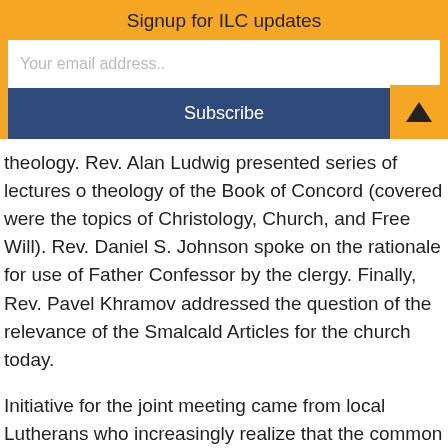Signup for ILC updates
Your email address..
Subscribe
theology. Rev. Alan Ludwig presented series of lectures o theology of the Book of Concord (covered were the topics of Christology, Church, and Free Will). Rev. Daniel S. Johnson spoke on the rationale for use of Father Confessor by the clergy. Finally, Rev. Pavel Khramov addressed the question of the relevance of the Smalcald Articles for the church today.
Initiative for the joint meeting came from local Lutherans who increasingly realize that the common confessional voice of the Lutherans in Siberia and Russia in general would have greater impact both for the inner life of the local Lutheran congregations and on the public square. Dean Ville Melanen, of the ELCI's Siberian deanery, was instrumental in making the event happen.